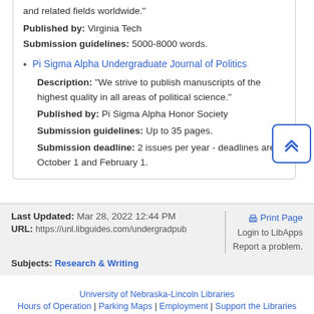and related fields worldwide."
Published by: Virginia Tech
Submission guidelines: 5000-8000 words.
Pi Sigma Alpha Undergraduate Journal of Politics
Description: "We strive to publish manuscripts of the highest quality in all areas of political science."
Published by: Pi Sigma Alpha Honor Society
Submission guidelines: Up to 35 pages.
Submission deadline: 2 issues per year - deadlines are October 1 and February 1.
Last Updated: Mar 28, 2022 12:44 PM | URL: https://unl.libguides.com/undergradpub | Print Page | Login to LibApps | Report a problem. | Subjects: Research & Writing
University of Nebraska-Lincoln Libraries | Hours of Operation | Parking Maps | Employment | Support the Libraries